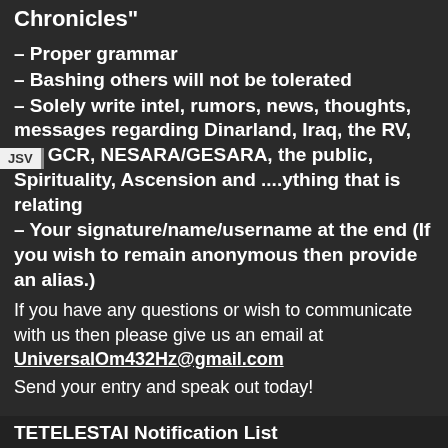Chronicles"
– Proper grammar
– Bashing others will not be tolerated
– Solely write intel, rumors, news, thoughts, messages regarding Dinarland, Iraq, the RV, the GCR, NESARA/GESARA, the public, Spirituality, Ascension and ....ything that is relating
– Your signature/name/username at the end (If you wish to remain anonymous then provide an alias.)
If you have any questions or wish to communicate with us then please give us an email at UniversalOm432Hz@gmail.com
Send your entry and speak out today!
TETELESTAI Notification List